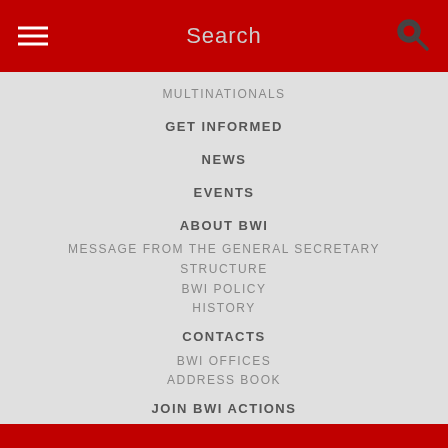Search
MULTINATIONALS
GET INFORMED
NEWS
EVENTS
ABOUT BWI
MESSAGE FROM THE GENERAL SECRETARY
STRUCTURE
BWI POLICY
HISTORY
CONTACTS
BWI OFFICES
ADDRESS BOOK
JOIN BWI ACTIONS